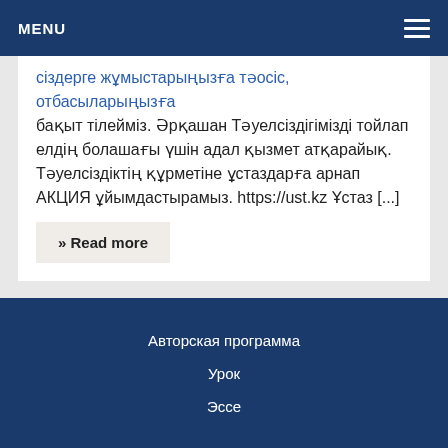MENU
сіздерге жұмыстарыңызға тәосіс, отбасыларыңызға бақыт тілейміз. Әрқашан Тәуелсіздігімізді тойлап елдің болашағы үшін адал қызмет атқарайық. Тәуелсіздіктің құрметіне ұстаздарға арнап АКЦИЯ ұйымдастырамыз. https://ust.kz Ұстаз [...]
» Read more
Авторская программа
Урок
Эссе